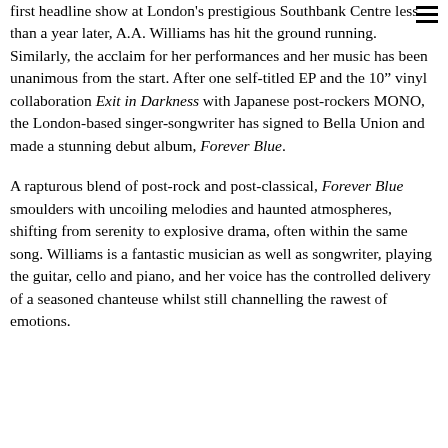first headline show at London's prestigious Southbank Centre less than a year later, A.A. Williams has hit the ground running. Similarly, the acclaim for her performances and her music has been unanimous from the start. After one self-titled EP and the 10" vinyl collaboration Exit in Darkness with Japanese post-rockers MONO, the London-based singer-songwriter has signed to Bella Union and made a stunning debut album, Forever Blue.
A rapturous blend of post-rock and post-classical, Forever Blue smoulders with uncoiling melodies and haunted atmospheres, shifting from serenity to explosive drama, often within the same song. Williams is a fantastic musician as well as songwriter, playing the guitar, cello and piano, and her voice has the controlled delivery of a seasoned chanteuse whilst still channelling the rawest of emotions.